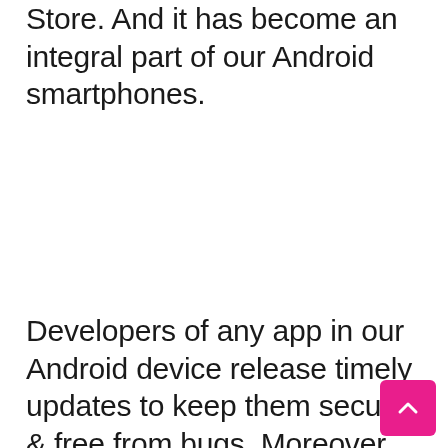Store. And it has become an integral part of our Android smartphones.
Developers of any app in our Android device release timely updates to keep them secure & free from bugs. Moreover, app updates